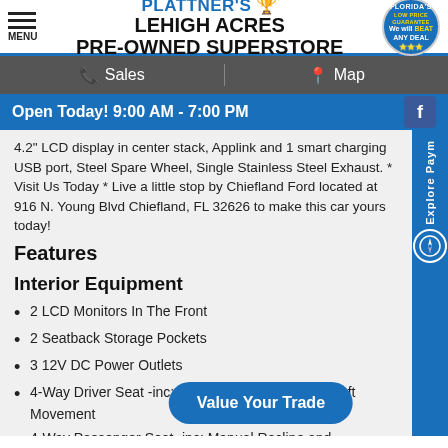PLATTNER'S LEHIGH ACRES PRE-OWNED SUPERSTORE | FLORIDA'S LOW PRICE GUARANTEE We will BEAT ANY DEAL
Sales | Map
Open Today! 9:00 AM - 7:00 PM
4.2" LCD display in center stack, Applink and 1 smart charging USB port, Steel Spare Wheel, Single Stainless Steel Exhaust. * Visit Us Today * Live a little stop by Chiefland Ford located at 916 N. Young Blvd Chiefland, FL 32626 to make this car yours today!
Features
Interior Equipment
2 LCD Monitors In The Front
2 Seatback Storage Pockets
3 12V DC Power Outlets
4-Way Driver Seat -inc: Manual Recline and Fore/Aft Movement
4-Way Passenger Seat -inc: Manual Recline and